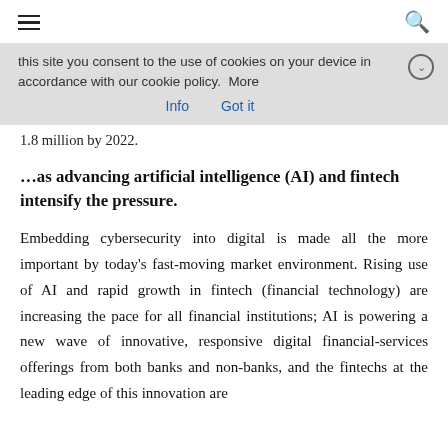≡   Q
this site you consent to the use of cookies on your device in accordance with our cookie policy.  More Info   Got it
shortage of skilled cybersecurity professionals will reach 1.8 million by 2022.
…as advancing artificial intelligence (AI) and fintech intensify the pressure.
Embedding cybersecurity into digital is made all the more important by today's fast-moving market environment. Rising use of AI and rapid growth in fintech (financial technology) are increasing the pace for all financial institutions; AI is powering a new wave of innovative, responsive digital financial-services offerings from both banks and non-banks, and the fintechs at the leading edge of this innovation are